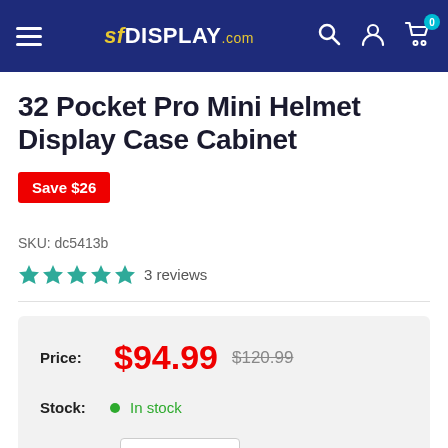SFDisplay.com
32 Pocket Pro Mini Helmet Display Case Cabinet
Save $26
SKU: dc5413b
3 reviews
Price: $94.99  $120.99
Stock: In stock
Quantity: 1